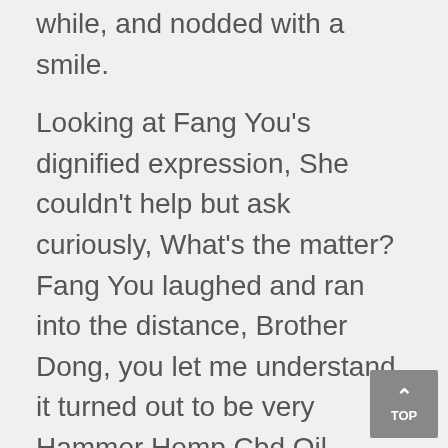while, and nodded with a smile.
Looking at Fang You's dignified expression, She couldn't help but ask curiously, What's the matter? Fang You laughed and ran into the distance, Brother Dong, you let me understand, it turned out to be very Hammer Hemp Cbd Oil peaceful You, you can scare people to death if you start a fire.
Gradually, the auction went on for more than an hour but the atmosphere in the venue did not go down, instead it became more and more intense with the more beautiful jade